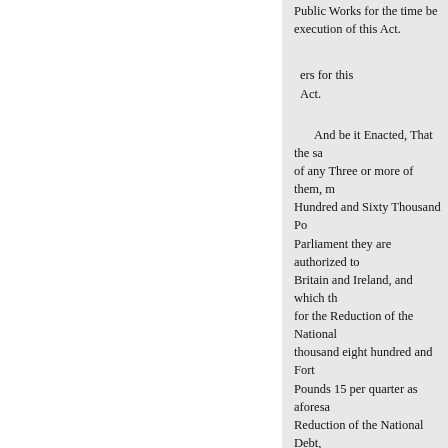Public Works for the time be- execution of this Act.
ers for this Act.
And be it Enacted, That the sa- of any Three or more of them, m- Hundred and Sixty Thousand Po- Parliament they are authorized to Britain and Ireland, and which th- for the Reduction of the National thousand eight hundred and Fort- Pounds 15 per quarter as aforesa- Reduction of the National Debt, Pounds per quarter, to be at the d- mentioned, such quarterly instalm-
of April, the Fifth day of July, an- become due and payable on the F-
30
And be it Enacted, That for the Commissioners for the Reductio-